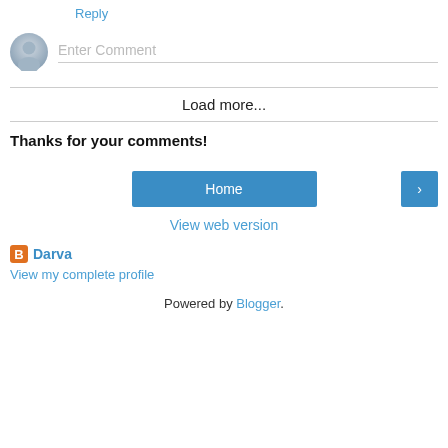Reply
[Figure (illustration): Comment input area with avatar icon and Enter Comment placeholder]
Load more...
Thanks for your comments!
Home
>
View web version
Darva
View my complete profile
Powered by Blogger.